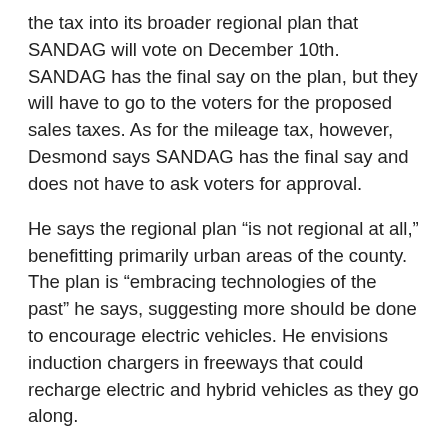the tax into its broader regional plan that SANDAG will vote on December 10th. SANDAG has the final say on the plan, but they will have to go to the voters for the proposed sales taxes. As for the mileage tax, however, Desmond says SANDAG has the final say and does not have to ask voters for approval.
He says the regional plan “is not regional at all,” benefitting primarily urban areas of the county. The plan is “embracing technologies of the past” he says, suggesting more should be done to encourage electric vehicles. He envisions induction chargers in freeways that could recharge electric and hybrid vehicles as they go along.
He also objects to raises that would result in a sales tax of nearly 10 cents plus addition of 819 mileage lanes of toll roads, a “big number” he notes, adding that he doesn’t yet know where those toll roads would be.
He predicts legal challenges are likely to be filed over the